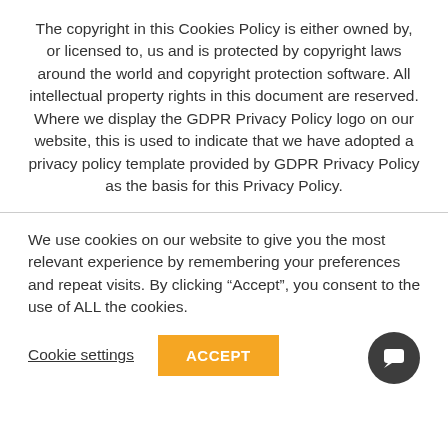The copyright in this Cookies Policy is either owned by, or licensed to, us and is protected by copyright laws around the world and copyright protection software. All intellectual property rights in this document are reserved. Where we display the GDPR Privacy Policy logo on our website, this is used to indicate that we have adopted a privacy policy template provided by GDPR Privacy Policy as the basis for this Privacy Policy.
We use cookies on our website to give you the most relevant experience by remembering your preferences and repeat visits. By clicking “Accept”, you consent to the use of ALL the cookies.
Cookie settings  ACCEPT